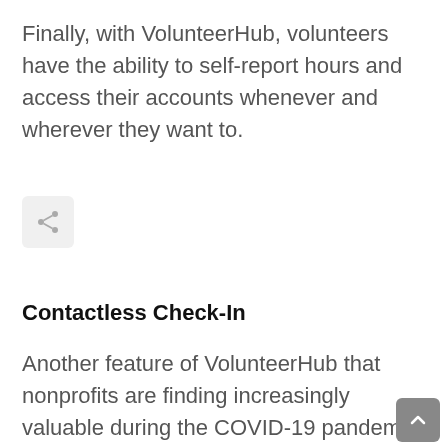Finally, with VolunteerHub, volunteers have the ability to self-report hours and access their accounts whenever and wherever they want to.
[Figure (other): Share button icon — a rounded square button with a share/network icon (three dots connected by lines)]
Contactless Check-In
Another feature of VolunteerHub that nonprofits are finding increasingly valuable during the COVID-19 pandemic is contactless check-in. Contactless